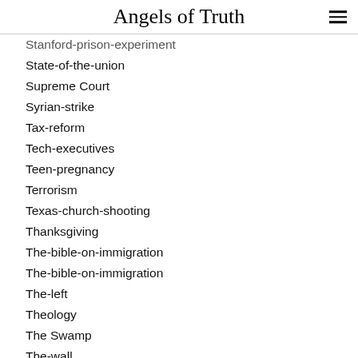Angels of Truth
Stanford-prison-experiment
State-of-the-union
Supreme Court
Syrian-strike
Tax-reform
Tech-executives
Teen-pregnancy
Terrorism
Texas-church-shooting
Thanksgiving
The-bible-on-immigration
The-bible-on-immigration
The-left
Theology
The Swamp
The-wall
Traitors